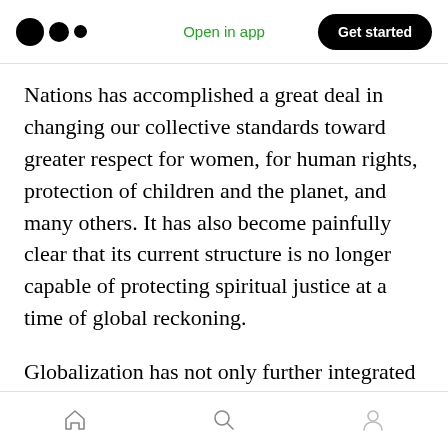Open in app | Get started
Nations has accomplished a great deal in changing our collective standards toward greater respect for women, for human rights, protection of children and the planet, and many others. It has also become painfully clear that its current structure is no longer capable of protecting spiritual justice at a time of global reckoning.
Globalization has not only further integrated our planet through technology, trade, and increasingly shared policy standards. It has also
Home | Search | Profile